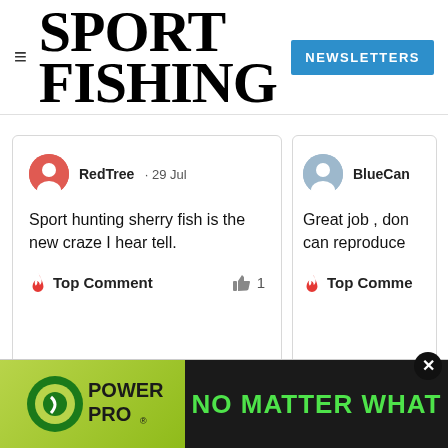SPORT FISHING — NEWSLETTERS
RedTree · 29 Jul
Sport hunting sherry fish is the new craze I hear tell.
🔥 Top Comment   👍 1
BlueCan...
Great job , don can reproduce
🔥 Top Comme
[Figure (screenshot): Power Pro fishing line advertisement — green and black banner with Power Pro logo on left and 'NO MATTER WHAT' text in green on black background]